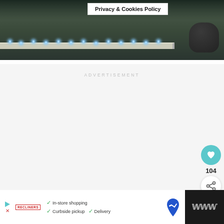[Figure (photo): Photo of a building ledge/wall with blue string lights/Christmas lights along the edge, dark green foliage background, outdoor night scene]
Privacy & Cookies Policy
ADVERTISEMENT
104
WHAT'S NEXT →
Jack Daniel's Distillery To...
[Figure (infographic): Bottom advertisement banner: Play/close icon, advertiser logo, checkmarks for In-store shopping, Curbside pickup, Delivery, blue map direction icon, dark panel with W° logo]